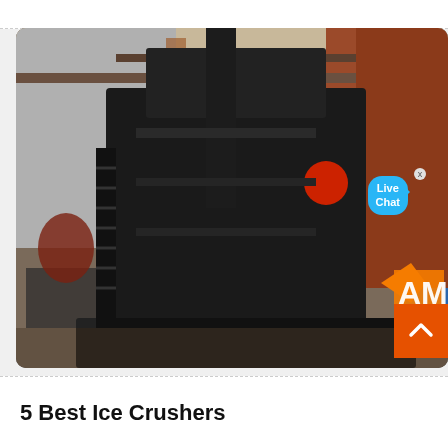[Figure (photo): Large industrial ice crusher machine, dark/black colored, situated inside a warehouse or industrial facility with metal structures and rusty red columns in the background. A 'Live Chat' speech bubble UI overlay is visible in the upper right of the image, along with a partial company logo (orange and blue 'AM' letters) at the bottom right, and an orange scroll-to-top button.]
5 Best Ice Crushers